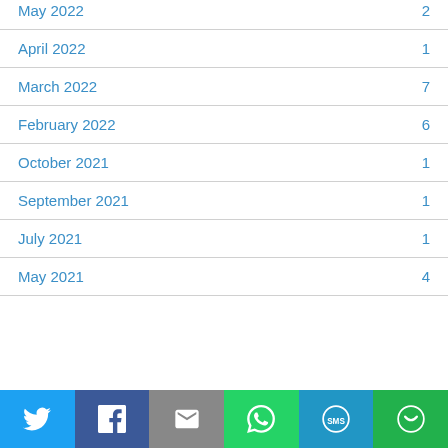May 2022  2
April 2022  1
March 2022  7
February 2022  6
October 2021  1
September 2021  1
July 2021  1
May 2021  4
[Figure (infographic): Social share buttons row: Twitter (blue), Facebook (dark blue), Email (grey), WhatsApp (green), SMS (blue), More (green)]